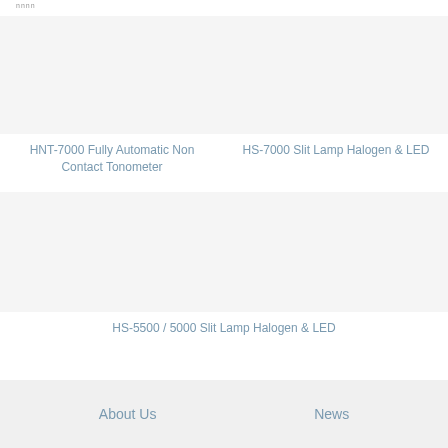nnnn
HNT-7000 Fully Automatic Non Contact Tonometer
HS-7000 Slit Lamp Halogen & LED
HS-5500 / 5000 Slit Lamp Halogen & LED
About Us    News